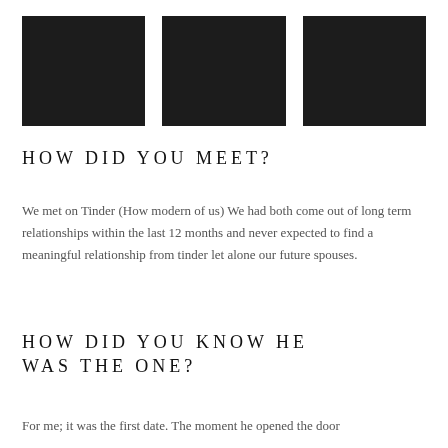[Figure (photo): Three dark/black photo placeholders arranged in a row at the top of the page]
HOW DID YOU MEET?
We met on Tinder (How modern of us) We had both come out of long term relationships within the last 12 months and never expected to find a meaningful relationship from tinder let alone our future spouses.
HOW DID YOU KNOW HE WAS THE ONE?
For me; it was the first date. The moment he opened the door